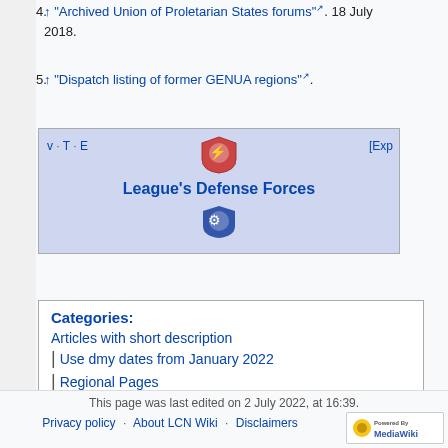4. ↑ "Archived Union of Proletarian States forums". 18 July 2018.
5. ↑ "Dispatch listing of former GENUA regions".
[Figure (other): Navigation box for League's Defense Forces with VTE links and shield emblems]
Categories:
Articles with short description
Use dmy dates from January 2022
Regional Pages
This page was last edited on 2 July 2022, at 16:39.
Privacy policy · About LCN Wiki · Disclaimers